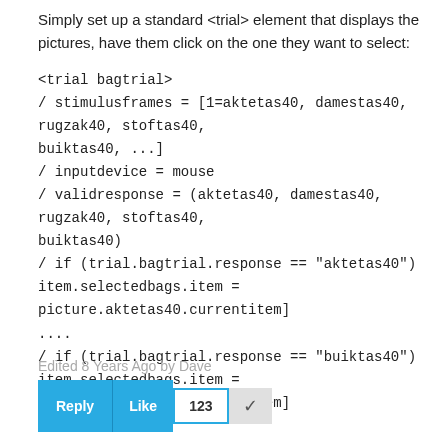Simply set up a standard <trial> element that displays the pictures, have them click on the one they want to select:
<trial bagtrial>
/ stimulusframes = [1=aktetas40, damestas40, rugzak40, stoftas40, buiktas40, ...]
/ inputdevice = mouse
/ validresponse = (aktetas40, damestas40, rugzak40, stoftas40, buiktas40)
/ ontrialend = [ if (trial.bagtrial.response == "aktetas40")
item.selectedbags.item = picture.aktetas40.currentitem]
....
/ ontrialend = [ if (trial.bagtrial.response == "buiktas40")
item.selectedbags.item = picture.buiktas40.currentitem]
</trial>
Edited 8 Years Ago by Dave